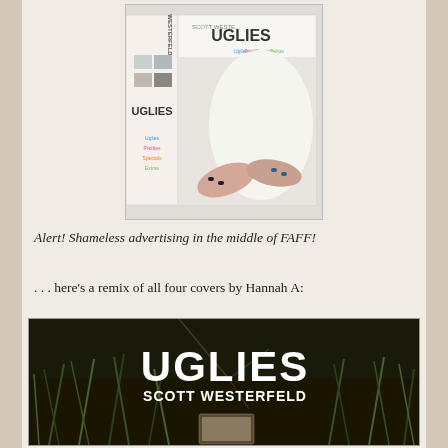[Figure (photo): Book box set for Scott Westerfeld's Uglies series, showing the box set with spine listing Uglies, Pretties, Specials, Extras, and a cover with hands touching fabric]
Alert! Shameless advertising in the middle of FAFF!
. . . here’s a remix of all four covers by Hannah A:
[Figure (photo): Fan-made remix cover art for Uglies by Scott Westerfeld, dark background with grass/nature elements, large white text reading UGLIES SCOTT WESTERFELD]